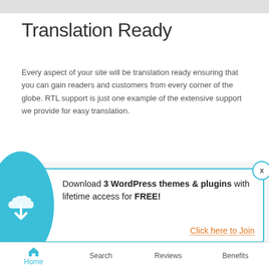Translation Ready
Every aspect of your site will be translation ready ensuring that you can gain readers and customers from every corner of the globe. RTL support is just one example of the extensive support we provide for easy translation.
[Figure (illustration): A pile of colorful international flags from various countries fanned out, showing flags including EU, China, Australia, UK, and others]
Download 3 WordPress themes & plugins with lifetime access for FREE!
Click here to Join
Home  Search  Reviews  Benefits